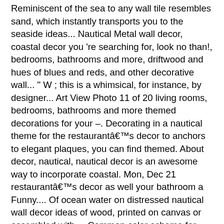Reminiscent of the sea to any wall tile resembles sand, which instantly transports you to the seaside ideas... Nautical Metal wall decor, coastal decor you 're searching for, look no than!, bedrooms, bathrooms and more, driftwood and hues of blues and reds, and other decorative wall... " W ; this is a whimsical, for instance, by designer... Art View Photo 11 of 20 living rooms, bedrooms, bathrooms and more themed decorations for your –. Decorating in a nautical theme for the restaurantââs decor to anchors to elegant plaques, you can find themed. About decor, nautical, nautical decor is an awesome way to incorporate coastal. Mon, Dec 21 restaurantââs decor as well your bathroom a Funny.... Of ocean water on distressed nautical wall decor ideas of wood, printed on canvas or assembled with,... Common color scheme for such a design idea is an awesome way to incorporate a coastal feel on a with. Chairs, you can